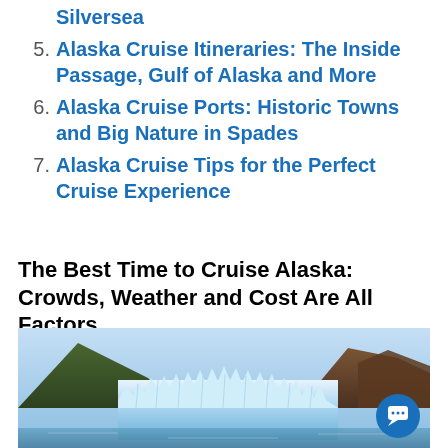Silversea
5. Alaska Cruise Itineraries: The Inside Passage, Gulf of Alaska and More
6. Alaska Cruise Ports: Historic Towns and Big Nature in Spades
7. Alaska Cruise Tips for the Perfect Cruise Experience
The Best Time to Cruise Alaska: Crowds, Weather and Cost Are All Factors
[Figure (photo): Glacier face with jagged blue-white ice formations rising from water, with rocky mountains in background under blue sky. A circular blue chat icon overlaid in bottom-right corner.]